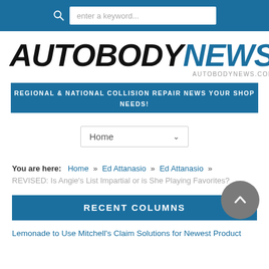enter a keyword...
[Figure (logo): Autobody News logo with text AUTOBODYNEWS and AUTOBODYNEWS.COM]
REGIONAL & NATIONAL COLLISION REPAIR NEWS YOUR SHOP NEEDS!
Home
You are here:  Home » Ed Attanasio » Ed Attanasio »
REVISED: Is Angie's List Impartial or is She Playing Favorites?
RECENT COLUMNS
Lemonade to Use Mitchell's Claim Solutions for Newest Product